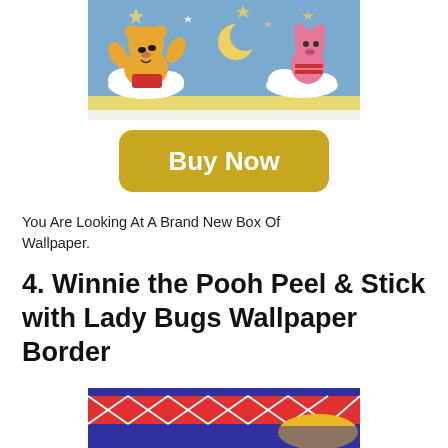[Figure (illustration): Winnie the Pooh wallpaper border showing Pooh and Piglet on clouds against a blue sky with stars and moon]
[Figure (other): Golden/yellow Buy Now button with rounded corners and white bold text]
You Are Looking At A Brand New Box Of Wallpaper.
4. Winnie the Pooh Peel & Stick with Lady Bugs Wallpaper Border
[Figure (illustration): Bottom portion of a colorful Winnie the Pooh Lady Bugs wallpaper border showing bright colors — red, purple, yellow]